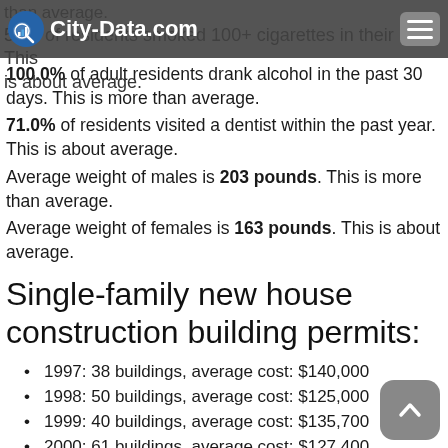City-Data.com
100.0% of adult residents drank alcohol in the past 30 days. This is more than average.
71.0% of residents visited a dentist within the past year. This is about average.
Average weight of males is 203 pounds. This is more than average.
Average weight of females is 163 pounds. This is about average.
Single-family new house construction building permits:
1997: 38 buildings, average cost: $140,000
1998: 50 buildings, average cost: $125,000
1999: 40 buildings, average cost: $135,700
2000: 61 buildings, average cost: $127,400
2001: 105 buildings, average cost: $129,700